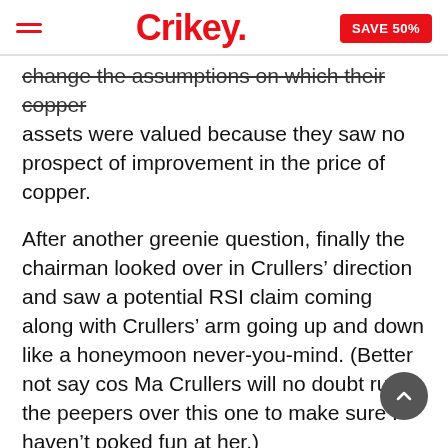Crikey. | SAVE 50%
change the assumptions on which their copper assets were valued because they saw no prospect of improvement in the price of copper.
After another greenie question, finally the chairman looked over in Crullers’ direction and saw a potential RSI claim coming along with Crullers’ arm going up and down like a honeymoon never-you-mind. (Better not say cos Ma Crullers will no doubt run the peepers over this one to make sure I haven’t poked fun at her.)
My first question was whether there were any other nasty surprises lurking given the significant Utah copper write-down – I said it was a bit of a worry that